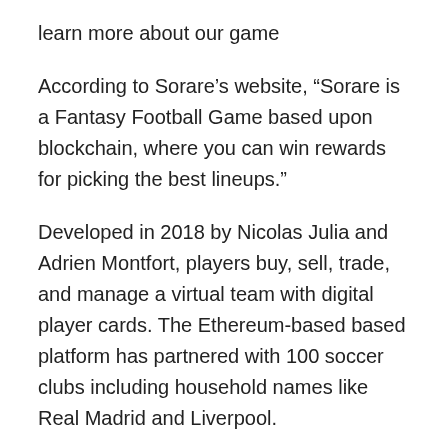learn more about our game
According to Sorare’s website, “Sorare is a Fantasy Football Game based upon blockchain, where you can win rewards for picking the best lineups.”
Developed in 2018 by Nicolas Julia and Adrien Montfort, players buy, sell, trade, and manage a virtual team with digital player cards. The Ethereum-based based platform has partnered with 100 soccer clubs including household names like Real Madrid and Liverpool.
In an opinion piece on Gambling Insider, Richard Williams, a gambling and regulation partner at Keystone Law, argued that Sorare may fall into the category of